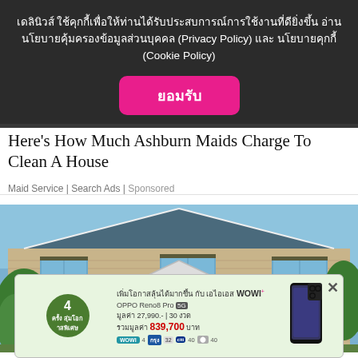เดลินิวส์ ใช้คุกกี้เพื่อให้ท่านได้รับประสบการณ์การใช้งานที่ดียิ่งขึ้น อ่านนโยบายคุ้มครองข้อมูลส่วนบุคคล (Privacy Policy) และ นโยบายคุกกี้ (Cookie Policy)
ยอมรับ
Here's How Much Ashburn Maids Charge To Clean A House
Maid Service | Search Ads | Sponsored
[Figure (photo): Two-story house with tan/beige siding, teal shutters, white trim, triangular entrance portico, flanked by green trees, blue sky.]
[Figure (infographic): AIS WOWI Plus advertisement featuring OPPO Reno8 Pro 5G phone promotion. Price 27,990 baht for 30 months, total value 839,700 baht. Shows phone image and logos.]